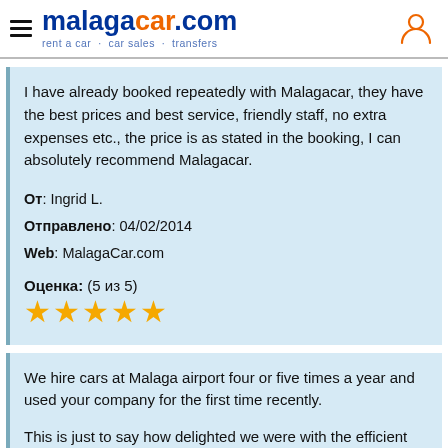malagacar.com — rent a car · car sales · transfers
I have already booked repeatedly with Malagacar, they have the best prices and best service, friendly staff, no extra expenses etc., the price is as stated in the booking, I can absolutely recommend Malagacar.
От: Ingrid L.
Отправлено: 04/02/2014
Web: MalagaCar.com

Оценка: (5 из 5)
★★★★★
We hire cars at Malaga airport four or five times a year and used your company for the first time recently.

This is just to say how delighted we were with the efficient and